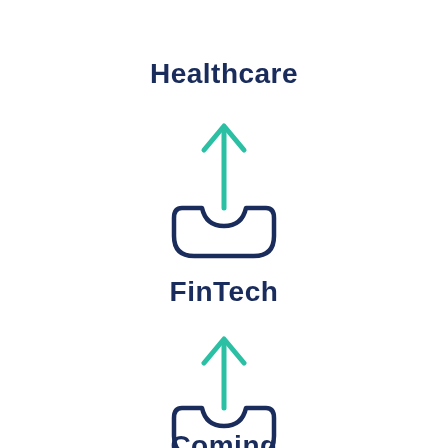[Figure (illustration): Upload/export tray icon with teal upward arrow above a inbox/tray shape, dark navy outline style — partially cropped at top]
Healthcare
[Figure (illustration): Upload/export tray icon with teal upward arrow above a inbox/tray shape, dark navy outline style]
FinTech
[Figure (illustration): Upload/export tray icon with teal upward arrow above a inbox/tray shape, dark navy outline style]
Coming